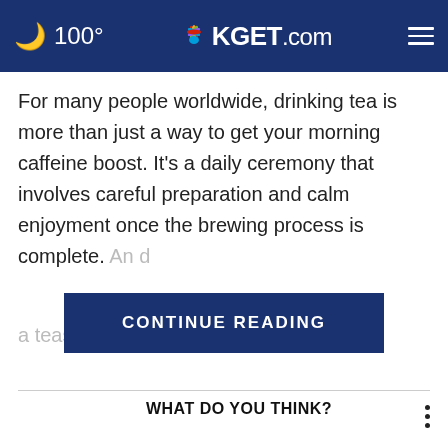🌙 100° KGET.com ≡
For many people worldwide, drinking tea is more than just a way to get your morning caffeine boost. It's a daily ceremony that involves careful preparation and calm enjoyment once the brewing process is complete. An d[...] is essential as a teaspoon or [...] passionate tea
CONTINUE READING
WHAT DO YOU THINK?
When, if ever, do you plan to get an updated COVID-19 booster shot?
Within a month